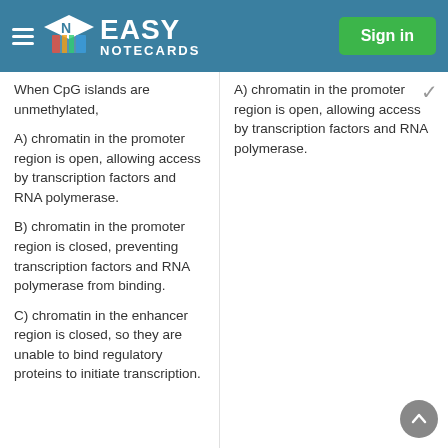Easy Notecards — Sign in
When CpG islands are unmethylated,
A) chromatin in the promoter region is open, allowing access by transcription factors and RNA polymerase.
B) chromatin in the promoter region is closed, preventing transcription factors and RNA polymerase from binding.
C) chromatin in the enhancer region is closed, so they are unable to bind regulatory proteins to initiate transcription.
A) chromatin in the promoter region is open, allowing access by transcription factors and RNA polymerase.